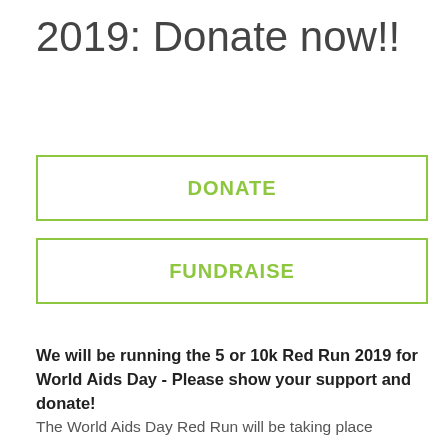2019: Donate now!!
DONATE
FUNDRAISE
We will be running the 5 or 10k Red Run 2019 for World Aids Day - Please show your support and donate!
The World Aids Day Red Run will be taking place